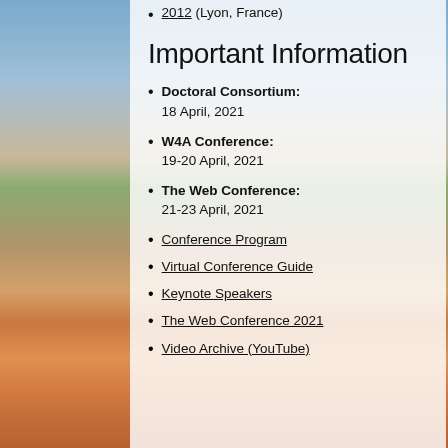2012 (Lyon, France)
Important Information
Doctoral Consortium: 18 April, 2021
W4A Conference: 19-20 April, 2021
The Web Conference: 21-23 April, 2021
Conference Program
Virtual Conference Guide
Keynote Speakers
The Web Conference 2021
Video Archive (YouTube)